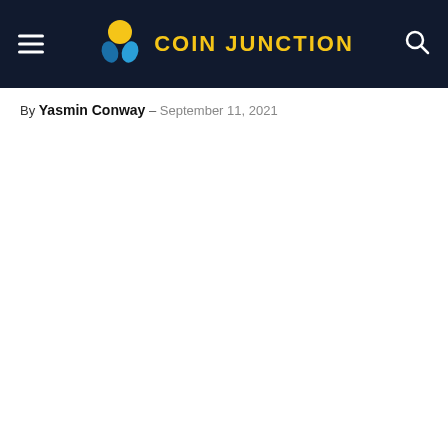Coin Junction
By Yasmin Conway – September 11, 2021